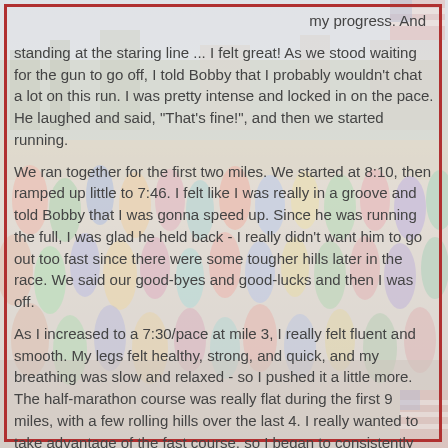[Figure (photo): Background photo of a large crowd of runners at the start of a road race, with trees and buildings visible in the background. American flags are visible. The image is faded/washed out and serves as a background.]
my progress.  And standing at the staring line ... I felt great!  As we stood waiting for the gun to go off, I told Bobby that I probably wouldn't chat a lot on this run.  I was pretty intense and locked in on the pace.  He laughed and said, "That's fine!", and then we started running.
We ran together for the first two miles.  We started at 8:10, then ramped up little to 7:46.  I felt like I was really in a groove and told Bobby that I was gonna speed up.  Since he was running the full, I was glad he held back - I really didn't want him to go out too fast since there were some tougher hills later in the race.  We said our good-byes and good-lucks and then I was off.
As I increased to a 7:30/pace at mile 3, I really felt fluent and smooth.  My legs felt healthy, strong, and quick, and my breathing was slow and relaxed - so I pushed it a little more.  The half-marathon course was really flat during the first 9 miles, with a few rolling hills over the last 4.  I really wanted to take advantage of the fast course, so I began to consistently increase my speed - and watching my heart